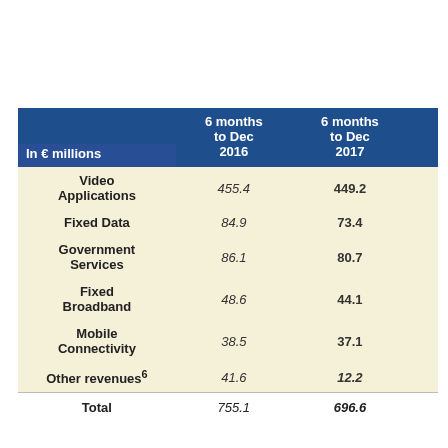| In € millions | 6 months to Dec 2016 | 6 months to Dec 2017 |  |
| --- | --- | --- | --- |
| Video Applications | 455.4 | 449.2 |  |
| Fixed Data | 84.9 | 73.4 |  |
| Government Services | 86.1 | 80.7 |  |
| Fixed Broadband | 48.6 | 44.1 |  |
| Mobile Connectivity | 38.5 | 37.1 |  |
| Other revenues⁶ | 41.6 | 12.2 |  |
| Total | 755.1 | 696.6 |  |